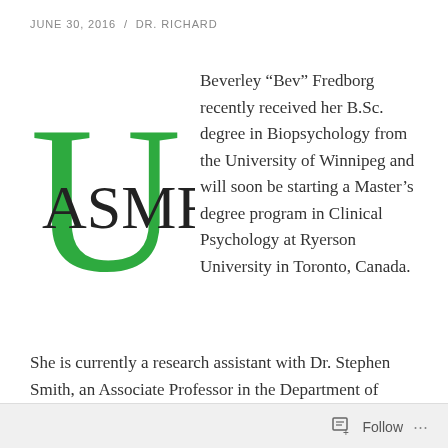JUNE 30, 2016  /  DR. RICHARD
[Figure (logo): ASMR University logo — large green U letter with ASMR text in black serif inside it]
Beverley “Bev” Fredborg recently received her B.Sc. degree in Biopsychology from the University of Winnipeg and will soon be starting a Master’s degree program in Clinical Psychology at Ryerson University in Toronto, Canada.
She is currently a research assistant with Dr. Stephen Smith, an Associate Professor in the Department of Psychology at the University of Winnipeg.
I initially interviewed this duo in July of 2015 when they